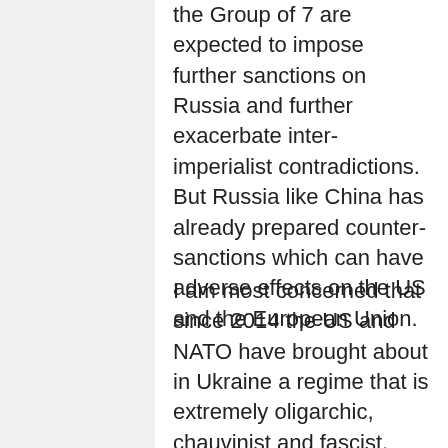the Group of 7 are expected to impose further sanctions on Russia and further exacerbate inter-imperialist contradictions. But Russia like China has already prepared counter-sanctions which can have adverse effects on the US and the European Union.
I am most concerned that since 2014 the US and NATO have brought about in Ukraine a regime that is extremely oligarchic, chauvinist and fascist,